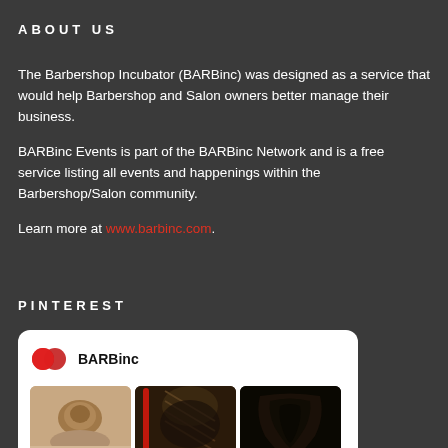ABOUT US
The Barbershop Incubator (BARBinc) was designed as a service that would help Barbershop and Salon owners better manage their business.
BARBinc Events is part of the BARBinc Network and is a free service listing all events and happenings within the Barbershop/Salon community.
Learn more at www.barbinc.com.
PINTEREST
[Figure (screenshot): Pinterest widget showing BARBinc profile with logo and three hair styling images]